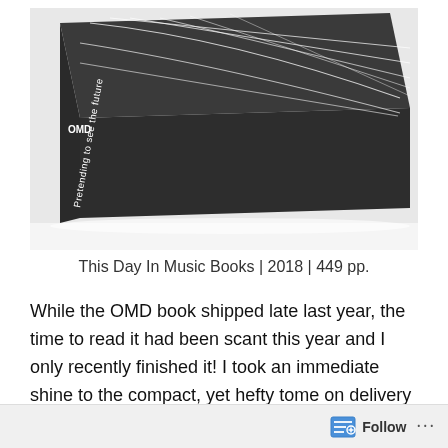[Figure (photo): Photo of a dark grey/black hardcover book lying at an angle on a white surface. The book spine reads 'OMD  Pretending to see the future' in white text. The cover has an abstract geometric pattern of white curved and straight lines on a dark background.]
This Day In Music Books | 2018 | 449 pp.
While the OMD book shipped late last year, the time to read it had been scant this year and I only recently finished it! I took an immediate shine to the compact, yet hefty tome on delivery as it was impossible not to take a